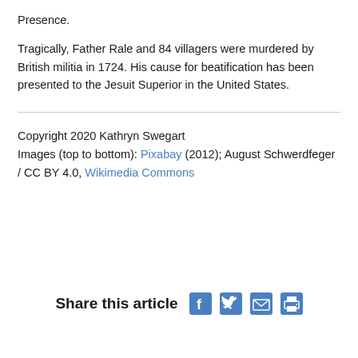Presence.
Tragically, Father Rale and 84 villagers were murdered by British militia in 1724. His cause for beatification has been presented to the Jesuit Superior in the United States.
Copyright 2020 Kathryn Swegart
Images (top to bottom): Pixabay (2012); August Schwerdfeger / CC BY 4.0, Wikimedia Commons
Share this article